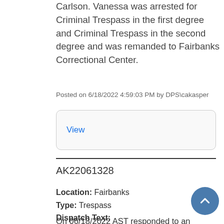Carlson. Vanessa was arrested for Criminal Trespass in the first degree and Criminal Trespass in the second degree and was remanded to Fairbanks Correctional Center.
Posted on 6/18/2022 4:59:03 PM by DPS\cakasper
View
AK22061328
Location: Fairbanks
Type: Trespass
Dispatch Text:
On 06/18/2022 AST responded to an intoxicated female in Fairbanks. Female was identified a... Nelle Andrews. Owner of property wanted N... trespassed. After completion of informing Nelle